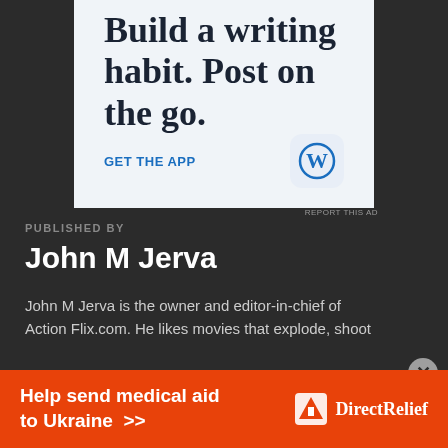[Figure (screenshot): WordPress app advertisement with large serif headline 'Build a writing habit. Post on the go.' and a 'GET THE APP' call-to-action with WordPress logo icon on light blue background]
REPORT THIS AD
PUBLISHED BY
John M Jerva
John M Jerva is the owner and editor-in-chief of Action Flix.com. He likes movies that explode, shoot
[Figure (screenshot): Orange Direct Relief banner advertisement: 'Help send medical aid to Ukraine >>' with Direct Relief logo on orange background]